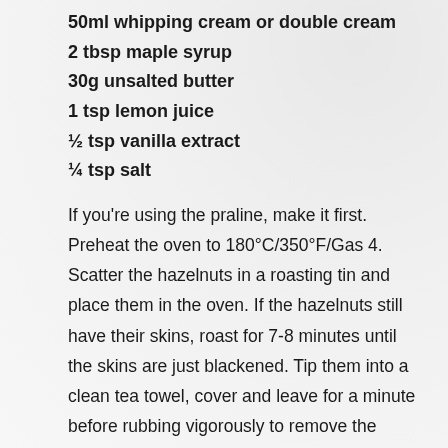50ml whipping cream or double cream
2 tbsp maple syrup
30g unsalted butter
1 tsp lemon juice
½ tsp vanilla extract
¼ tsp salt
If you're using the praline, make it first. Preheat the oven to 180°C/350°F/Gas 4. Scatter the hazelnuts in a roasting tin and place them in the oven. If the hazelnuts still have their skins, roast for 7-8 minutes until the skins are just blackened. Tip them into a clean tea towel, cover and leave for a minute before rubbing vigorously to remove the skins – don't worry too much about getting every speck off. If they're already skinned, simply roast them for 5 minutes or